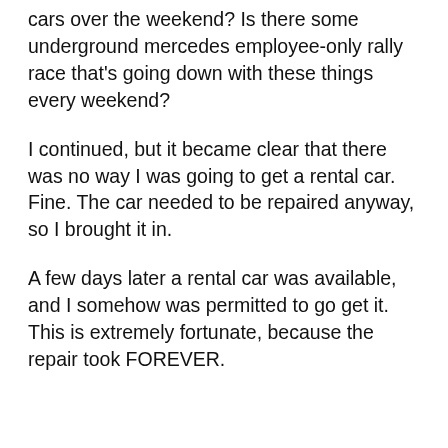cars over the weekend? Is there some underground mercedes employee-only rally race that's going down with these things every weekend?
I continued, but it became clear that there was no way I was going to get a rental car. Fine. The car needed to be repaired anyway, so I brought it in.
A few days later a rental car was available, and I somehow was permitted to go get it. This is extremely fortunate, because the repair took FOREVER.